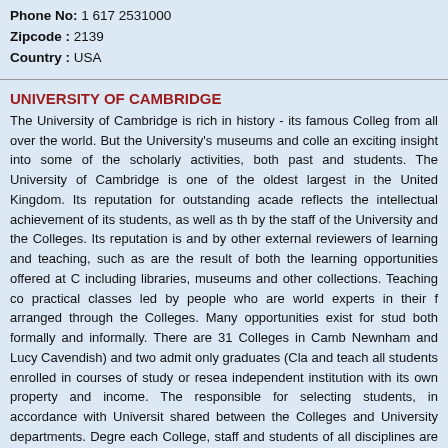Address: 77 Massachusetts Avenue
Phone No: 1 617 2531000
Zipcode: 2139
Country: USA
UNIVERSITY OF CAMBRIDGE
The University of Cambridge is rich in history - its famous Colleges attract students from all over the world. But the University's museums and collections also provide an exciting insight into some of the scholarly activities, both past and present, of staff and students. The University of Cambridge is one of the oldest and one of the largest in the United Kingdom. Its reputation for outstanding academic achievement reflects the intellectual achievement of its students, as well as the research carried out by the staff of the University and the Colleges. Its reputation is confirmed by employers and by other external reviewers of learning and teaching, such as the QAA. These results are the result of both the learning opportunities offered at Cambridge, including libraries, museums and other collections. Teaching combines lectures with practical classes led by people who are world experts in their fields, and supervisions arranged through the Colleges. Many opportunities exist for students to meet together, both formally and informally. There are 31 Colleges in Cambridge (three admit women: Newnham and Lucy Cavendish) and two admit only graduates (Clare Hall and Darwin) and teach all students enrolled in courses of study or research. Each College is an independent institution with its own property and income. The Colleges are themselves responsible for selecting students, in accordance with University regulations. Teaching is shared between the Colleges and University departments. Degrees are awarded by each College, staff and students of all disciplines are brought together, encouraging the free exchange of ideas which has led to the creation of a number of companies and have also established science parks, providing facilities for start-up companies.